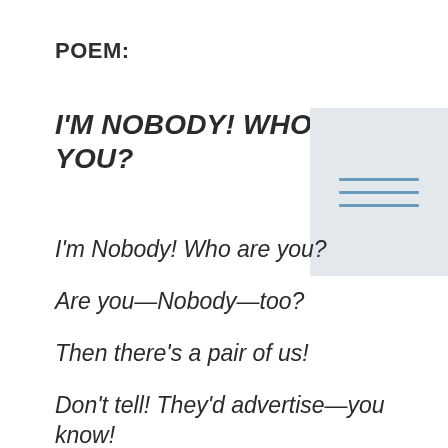POEM:
I'M NOBODY! WHO ARE YOU?
[Figure (other): Menu/hamburger icon with three horizontal blue lines on a light grey rectangle background]
I'm Nobody! Who are you?

Are you—Nobody—too?

Then there's a pair of us!

Don't tell! They'd advertise—you know!